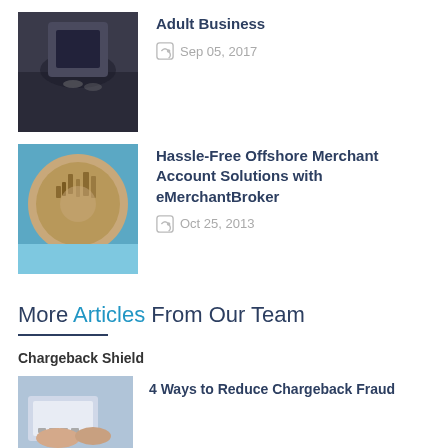[Figure (photo): Person sitting at a table, business meeting photo, dark tones]
Adult Business
Sep 05, 2017
[Figure (photo): Aerial circular city view, tiny planet style photo]
Hassle-Free Offshore Merchant Account Solutions with eMerchantBroker
Oct 25, 2013
More Articles From Our Team
Chargeback Shield
[Figure (photo): Hands typing on a laptop computer]
4 Ways to Reduce Chargeback Fraud